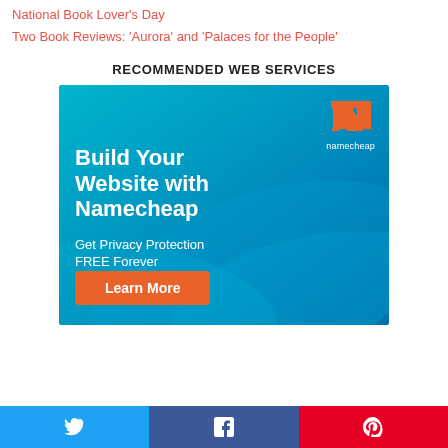National Book Lover's Day
Two Book Reviews: 'Aurora' and 'Palaces for the People'
RECOMMENDED WEB SERVICES
[Figure (illustration): Namecheap advertisement banner. Teal/blue gradient background with Namecheap logo (orange N shape). Text: 'Build Your Website with Namecheap'. Subtext: 'Get Privacy Protection FREE Forever'. Orange button: 'Learn More'.]
[Figure (infographic): Social sharing bar with three buttons: Twitter (blue bird icon), Facebook (blue F icon), Pinterest (red P icon).]